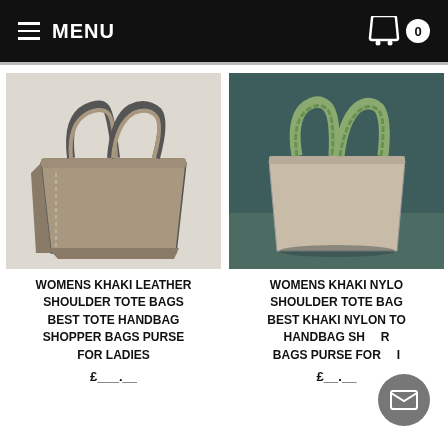MENU | Cart 0
[Figure (photo): Womens khaki leather shoulder tote bag on white background]
WOMENS KHAKI LEATHER SHOULDER TOTE BAGS BEST TOTE HANDBAG SHOPPER BAGS PURSE FOR LADIES
£___.__
[Figure (photo): Womens khaki nylon shoulder tote bag on dark teal background]
WOMENS KHAKI NYLO SHOULDER TOTE BAG BEST KHAKI NYLON TO HANDBAG SH R BAGS PURSE FOR I
£__.__